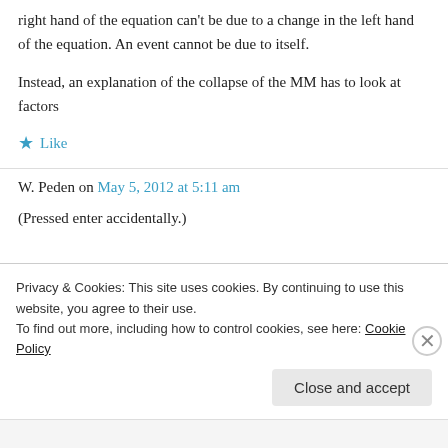right hand of the equation can't be due to a change in the left hand of the equation. An event cannot be due to itself.
Instead, an explanation of the collapse of the MM has to look at factors
★ Like
W. Peden on May 5, 2012 at 5:11 am
(Pressed enter accidentally.)
Privacy & Cookies: This site uses cookies. By continuing to use this website, you agree to their use.
To find out more, including how to control cookies, see here: Cookie Policy
Close and accept